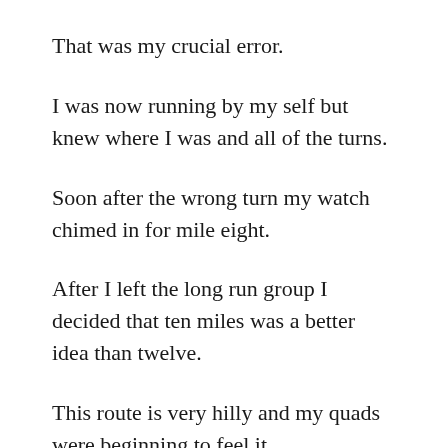That was my crucial error.
I was now running by my self but knew where I was and all of the turns.
Soon after the wrong turn my watch chimed in for mile eight.
After I left the long run group I decided that ten miles was a better idea than twelve.
This route is very hilly and my quads were beginning to feel it.
When my watch hit eight miles on the back side of Spot Pond, I knew I was in trouble.